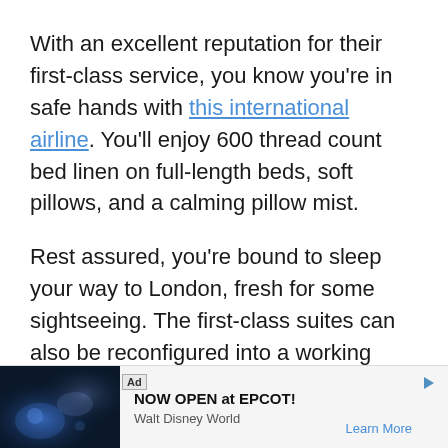With an excellent reputation for their first-class service, you know you're in safe hands with this international airline. You'll enjoy 600 thread count bed linen on full-length beds, soft pillows, and a calming pillow mist.
Rest assured, you're bound to sleep your way to London, fresh for some sightseeing. The first-class suites can also be reconfigured into a working space, with privacy doors, in-seat power, and free WiFi.
You're also treated to a la carte dining made complete with ethical and sustainable ingredients and w... ate-of-the-... h
[Figure (other): Advertisement banner at bottom: Ad label, Disney image with blue light effects, text 'NOW OPEN at EPCOT! Walt Disney World' with 'Learn More' link]